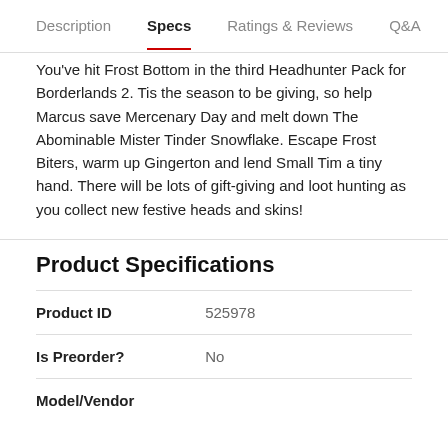Description | Specs | Ratings & Reviews | Q&A
You've hit Frost Bottom in the third Headhunter Pack for Borderlands 2. Tis the season to be giving, so help Marcus save Mercenary Day and melt down The Abominable Mister Tinder Snowflake. Escape Frost Biters, warm up Gingerton and lend Small Tim a tiny hand. There will be lots of gift-giving and loot hunting as you collect new festive heads and skins!
Product Specifications
|  |  |
| --- | --- |
| Product ID | 525978 |
| Is Preorder? | No |
| Model/Vendor |  |